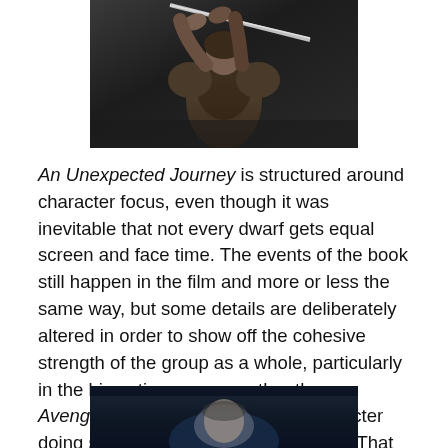[Figure (photo): A figure holding a large sword raised above their head, wearing dark armor/fur clothing, against a dark background]
An Unexpected Journey is structured around character focus, even though it was inevitable that not every dwarf gets equal screen and face time. The events of the book still happen in the film and more or less the same way, but some details are deliberately altered in order to show off the cohesive strength of the group as a whole, particularly in the big action scenes, rather than an Avengers-like sequence of each character doing something epic and memorable. That doesn't work when you're juggling between thirteen mighty dwarves and Jackson understood that.
[Figure (photo): A scene from a film showing a character in dim blue lighting, partially visible at the bottom of the page]